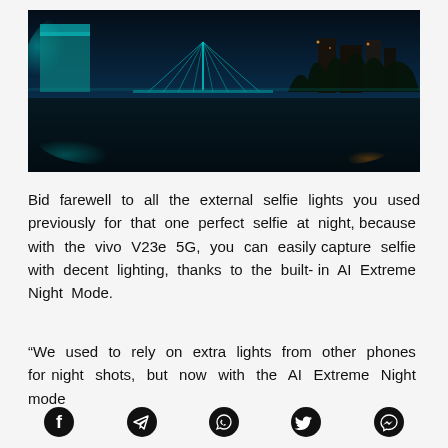[Figure (photo): Night cityscape photo showing illuminated city skyline reflected on water, with teal/blue colored buildings and bridge on left, dark tree line on right. Watermark 'vivo V23' in bottom left corner.]
Bid farewell to all the external selfie lights you used previously for that one perfect selfie at night, because with the vivo V23e 5G, you can easily capture selfie with decent lighting, thanks to the built-in AI Extreme Night Mode.
“We used to rely on extra lights from other phones for night shots, but now with the AI Extreme Night mode
[Figure (infographic): Social media share icons row: Facebook, Telegram, WhatsApp, Twitter, Messenger]